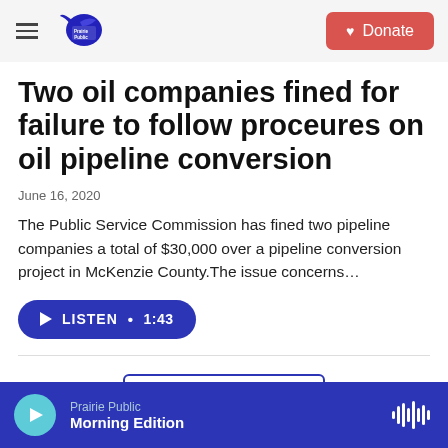Prairie Public | Donate
Two oil companies fined for failure to follow proceures on oil pipeline conversion
June 16, 2020
The Public Service Commission has fined two pipeline companies a total of $30,000 over a pipeline conversion project in McKenzie County.The issue concerns…
LISTEN • 1:43
Load More
Prairie Public Morning Edition